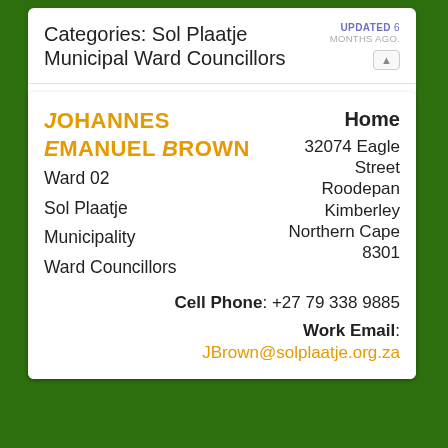Categories: Sol Plaatje Municipal Ward Councillors
Updated 6 months ago.
Johannes
Emanuel Brown
Home
Ward 02
Sol Plaatje
Municipality
Ward Councillors
32074 Eagle Street
Roodepan
Kimberley
Northern Cape
8301
Cell Phone: +27 79 338 9885
Work Email:
JBrown@solplaatje.org.za